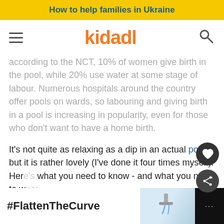How to help families in Ukraine
[Figure (logo): Kidadl logo with hamburger menu and search icon navigation bar]
according to the NCT, 10% of women give birth in the pool, while 20% use water at some stage of labour. Numerous hospitals around the country offer pools on wards, so labouring and giving birth in a pool is increasing in popularity, even for those who don't want to have a home birth.
It's not quite as relaxing as a dip in an actual pool... but it is rather lovely (I've done it four times myself). Here's what you need to know - and what you need to w... For more on what to wear during labour, check out our top tips here
[Figure (infographic): #FlattenTheCurve advertisement banner at bottom of page with hand washing image]